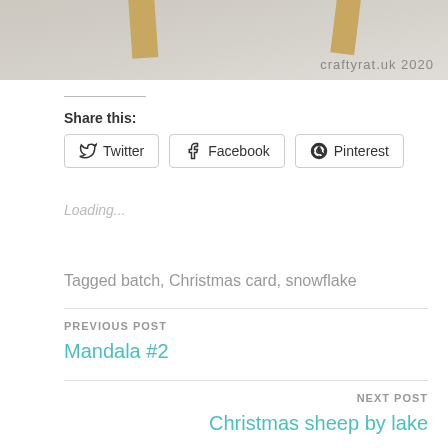[Figure (photo): Partial photo of wooden craft pieces on a light speckled background with watermark 'craftyrat.uk 2020']
Share this:
Twitter  Facebook  Pinterest
Loading...
Tagged batch, Christmas card, snowflake
PREVIOUS POST
Mandala #2
NEXT POST
Christmas sheep by lake